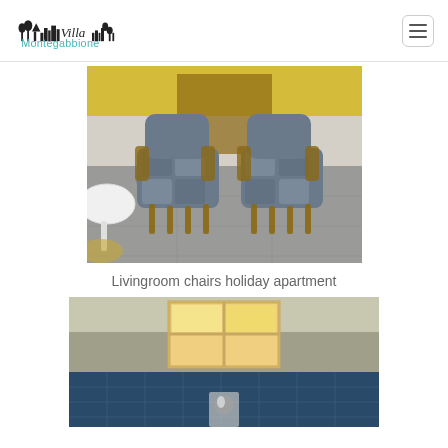[Figure (logo): Villa Montegabbione logo — black cityscape silhouette with 'Villa' text and teal 'Montegabbione' text below]
[Figure (photo): Two patterned armchairs with wooden legs on a grey tiled floor, white round table on left, yellow wall in background — livingroom of holiday apartment]
Livingroom chairs holiday apartment
[Figure (photo): Bathroom with a window letting in light, blue tiles on the floor, and a shower fixture — partially visible at bottom of page]